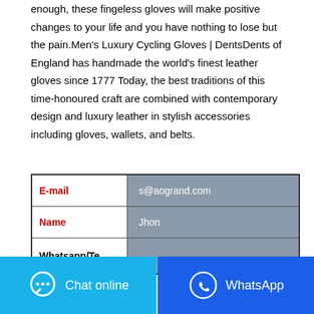enough, these fingeless gloves will make positive changes to your life and you have nothing to lose but the pain.Men's Luxury Cycling Gloves | DentsDents of England has handmade the world's finest leather gloves since 1777 Today, the best traditions of this time-honoured craft are combined with contemporary design and luxury leather in stylish accessories including gloves, wallets, and belts.
| Field | Value |
| --- | --- |
| E-mail | s@aogrand.com |
| Name | Jhon |
| Whatsapp/Te... |  |
Chat online
WhatsApp